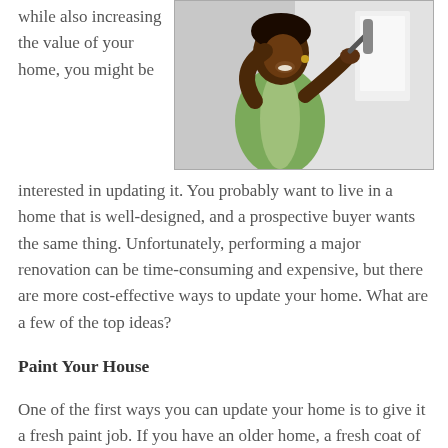while also increasing the value of your home, you might be
[Figure (photo): A young girl in a green dress painting a wall with a paint roller]
interested in updating it. You probably want to live in a home that is well-designed, and a prospective buyer wants the same thing. Unfortunately, performing a major renovation can be time-consuming and expensive, but there are more cost-effective ways to update your home. What are a few of the top ideas?
Paint Your House
One of the first ways you can update your home is to give it a fresh paint job. If you have an older home, a fresh coat of